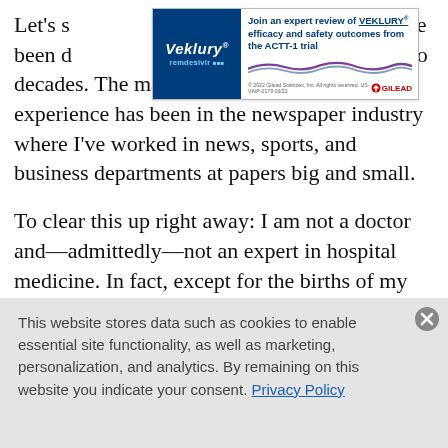Let's s[tart by telling you a little bit about myself. I've been d]oing journalism for nearly two decades. The majority of my professional experience has been in the newspaper industry where I've worked in news, sports, and business departments at papers big and small.
[Figure (other): Veklury (remdesivir) advertisement banner: 'Join an expert review of VEKLURY efficacy and safety outcomes from the ACTT-1 trial' — Gilead branding]
To clear this up right away: I am not a doctor and—admittedly—not an expert in hospital medicine. In fact, except for the births of my two sons, I have spent very little time in or around hospitals the past 20 years. I do know, however, hospital medicine is a growing field, and I am thrilled to
This website stores data such as cookies to enable essential site functionality, as well as marketing, personalization, and analytics. By remaining on this website you indicate your consent. Privacy Policy